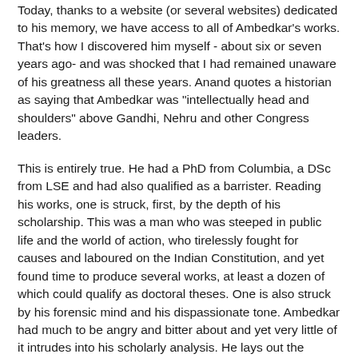Today, thanks to a website (or several websites) dedicated to his memory, we have access to all of Ambedkar's works. That's how I discovered him myself - about six or seven years ago- and was shocked that I had remained unaware of his greatness all these years. Anand quotes a historian as saying that Ambedkar was "intellectually head and shoulders" above Gandhi, Nehru and other Congress leaders.
This is entirely true. He had a PhD from Columbia, a DSc from LSE and had also qualified as a barrister. Reading his works, one is struck, first, by the depth of his scholarship. This was a man who was steeped in public life and the world of action, who tirelessly fought for causes and laboured on the Indian Constitution, and yet found time to produce several works, at least a dozen of which could qualify as doctoral theses. One is also struck by his forensic mind and his dispassionate tone. Ambedkar had much to be angry and bitter about and yet very little of it intrudes into his scholarly analysis. He lays out the evidence and then proceeds to derive conclusions in a clinical way.
It is natural that the elites should have admired him on their...